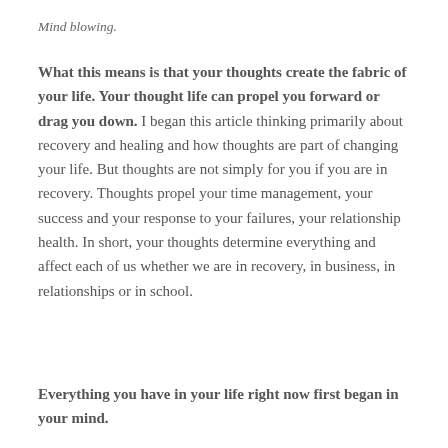Mind blowing.
What this means is that your thoughts create the fabric of your life. Your thought life can propel you forward or drag you down. I began this article thinking primarily about recovery and healing and how thoughts are part of changing your life. But thoughts are not simply for you if you are in recovery. Thoughts propel your time management, your success and your response to your failures, your relationship health. In short, your thoughts determine everything and affect each of us whether we are in recovery, in business, in relationships or in school.
Everything you have in your life right now first began in your mind.